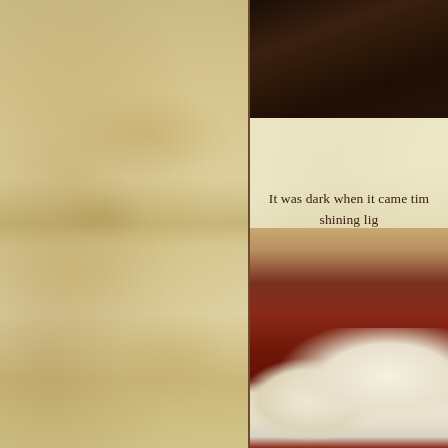[Figure (photo): Dark wooden table surface, close-up, very dark brown tones, top-right of page]
It was dark when it came tim shining lig
[Figure (photo): Close-up of a dessert — appears to be a red velvet or chocolate cake with white cream/whipped topping, warm amber and red-brown tones, bottom-right of page]